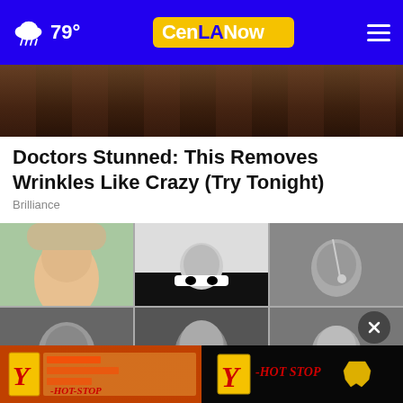79° CenLA Now
[Figure (photo): Partial view of a person's head, dark hair, top of face, cropped close-up photo in warm tones]
Doctors Stunned: This Removes Wrinkles Like Crazy (Try Tonight)
Brilliance
[Figure (photo): 3x2 grid of portrait photos: top row shows a young woman in color (green shirt), a man in a tuxedo with bow tie (black and white), and partial view of a person wearing a necklace (black and white); bottom row shows a smiling woman (black and white), a man with an afro (black and white), and a man with glasses (black and white)]
[Figure (other): Two side-by-side advertisement banners for Y-Hot Stop: left shows storefront interior in warm yellowy tones with Y logo, right shows Y-Hot Stop logo on black background with Louisiana shape]